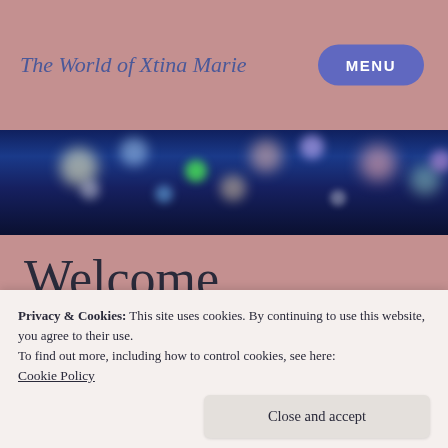The World of Xtina Marie
[Figure (photo): Bokeh night city lights banner image with colorful blurred lights on dark blue background]
Welcome
[Figure (photo): Close-up photo of a person's face/head, partially visible, with dark hair against a light background]
Privacy & Cookies: This site uses cookies. By continuing to use this website, you agree to their use.
To find out more, including how to control cookies, see here:
Cookie Policy
Close and accept